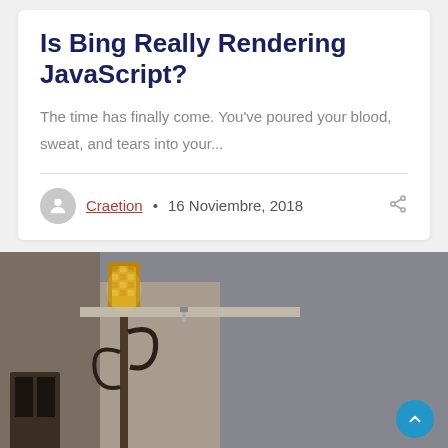Is Bing Really Rendering JavaScript?
The time has finally come. You've poured your blood, sweat, and tears into your...
Craetion • 16 Noviembre, 2018
[Figure (photo): Photograph of a building exterior at dusk or night, featuring an ornate wrought-iron torch/lamp fixture on the left side, with a hazy grey sky in the background.]